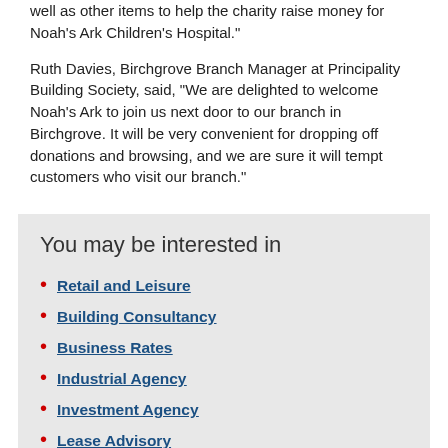well as other items to help the charity raise money for Noah’s Ark Children’s Hospital.”
Ruth Davies, Birchgrove Branch Manager at Principality Building Society, said, “We are delighted to welcome Noah’s Ark to join us next door to our branch in Birchgrove. It will be very convenient for dropping off donations and browsing, and we are sure it will tempt customers who visit our branch.”
You may be interested in
Retail and Leisure
Building Consultancy
Business Rates
Industrial Agency
Investment Agency
Lease Advisory
Office Agency
Property Management
Property Valuation